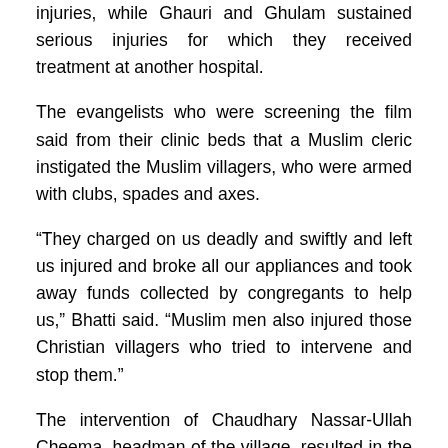injuries, while Ghauri and Ghulam sustained serious injuries for which they received treatment at another hospital.
The evangelists who were screening the film said from their clinic beds that a Muslim cleric instigated the Muslim villagers, who were armed with clubs, spades and axes.
“They charged on us deadly and swiftly and left us injured and broke all our appliances and took away funds collected by congregants to help us,” Bhatti said. “Muslim men also injured those Christian villagers who tried to intervene and stop them.”
The intervention of Chaudhary Nassar-Ullah Cheema, headman of the village, resulted in the rescue of the Christian evangelists and the surrender of the Muslim